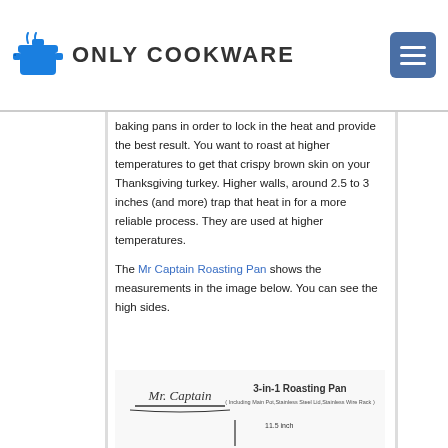ONLY COOKWARE
baking pans in order to lock in the heat and provide the best result. You want to roast at higher temperatures to get that crispy brown skin on your Thanksgiving turkey. Higher walls, around 2.5 to 3 inches (and more) trap that heat in for a more reliable process. They are used at higher temperatures.
The Mr Captain Roasting Pan shows the measurements in the image below. You can see the high sides.
[Figure (photo): Mr. Captain 3-in-1 Roasting Pan product image showing measurements and high sides]